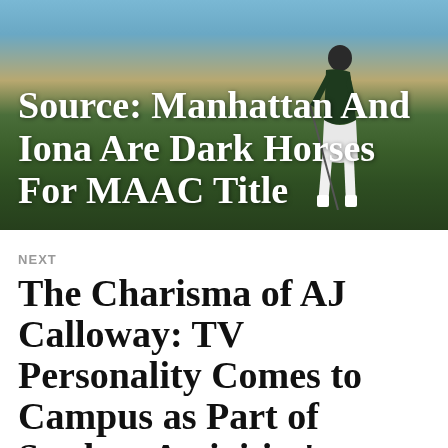[Figure (photo): A golfer putting on a golf course with ocean and sandy beach in the background. The figure is wearing a dark shirt and white shorts and socks.]
Source: Manhattan And Iona Are Dark Horses For MAAC Title
NEXT
The Charisma of AJ Calloway: TV Personality Comes to Campus as Part of Student Activities'